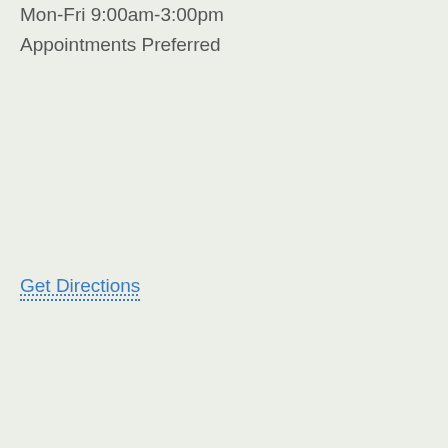Mon-Fri 9:00am-3:00pm
Appointments Preferred
Get Directions